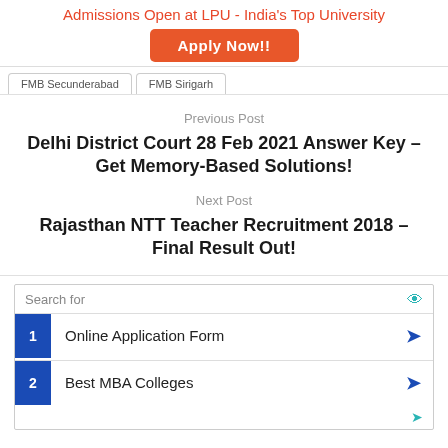Admissions Open at LPU - India's Top University
Apply Now!!
FMB Secunderabad   FMB Sirigarh
Previous Post
Delhi District Court 28 Feb 2021 Answer Key – Get Memory-Based Solutions!
Next Post
Rajasthan NTT Teacher Recruitment 2018 – Final Result Out!
Search for
1  Online Application Form
2  Best MBA Colleges